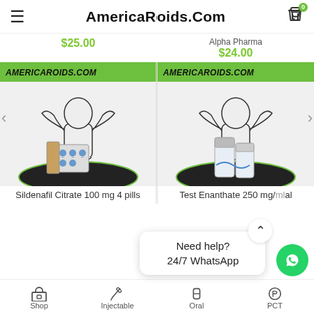AmericaRoids.Com
$25.00
Alpha Pharma
$24.00
[Figure (screenshot): Product card: Sildenafil Citrate 100mg 4 pills with AmericaRoids.Com green banner and bodybuilder logo]
Sildenafil Citrate 100 mg 4 pills
[Figure (screenshot): Product card: Test Enanthate 250mg with AmericaRoids.Com green banner and bodybuilder logo]
Test Enanthate 250 mg/ml
Need help?
24/7 WhatsApp
Shop  Injectable  Oral  PCT